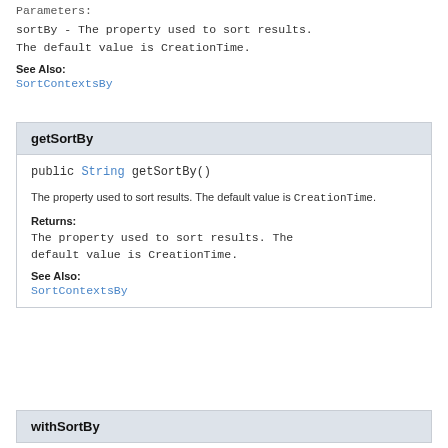Parameters:
sortBy - The property used to sort results. The default value is CreationTime.
See Also:
SortContextsBy
getSortBy
public String getSortBy()
The property used to sort results. The default value is CreationTime.
Returns:
The property used to sort results. The default value is CreationTime.
See Also:
SortContextsBy
withSortBy